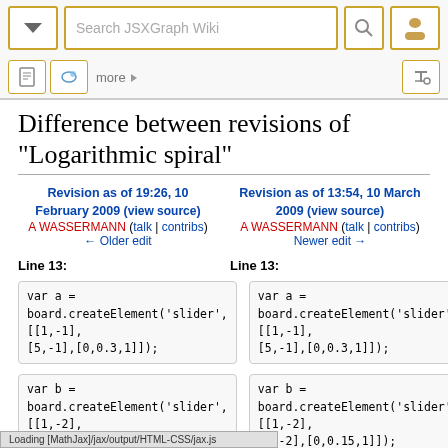Search JSXGraph Wiki
Difference between revisions of "Logarithmic spiral"
Revision as of 19:26, 10 February 2009 (view source)
A WASSERMANN (talk | contribs)
← Older edit
Revision as of 13:54, 10 March 2009 (view source)
A WASSERMANN (talk | contribs)
Newer edit →
Line 13:
Line 13:
var a =
board.createElement('slider', [[1,-1],
[5,-1],[0,0.3,1]]);
var a =
board.createElement('slider', [[1,-1],
[5,-1],[0,0.3,1]]);
var b =
board.createElement('slider', [[1,-2],
[5,-2],[0,0.15,1]]);
var b =
board.createElement('slider', [[1,-2],
[5,-2],[0,0.15,1]]);
var c =
Loading [MathJax]/jax/output/HTML-CSS/jax.js